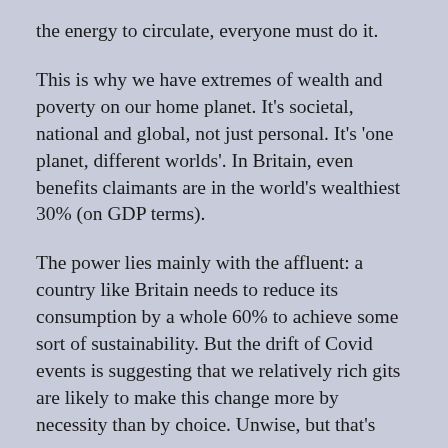the energy to circulate, everyone must do it.
This is why we have extremes of wealth and poverty on our home planet. It’s societal, national and global, not just personal. It’s ‘one planet, different worlds’. In Britain, even benefits claimants are in the world’s wealthiest 30% (on GDP terms).
The power lies mainly with the affluent: a country like Britain needs to reduce its consumption by a whole 60% to achieve some sort of sustainability. But the drift of Covid events is suggesting that we relatively rich gits are likely to make this change more by necessity than by choice. Unwise, but that’s